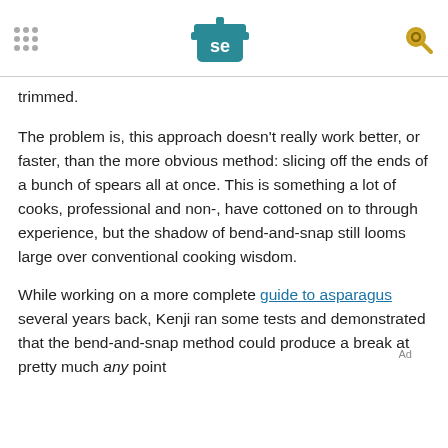[Serious Eats logo with navigation dots and search icon]
trimmed.
The problem is, this approach doesn't really work better, or faster, than the more obvious method: slicing off the ends of a bunch of spears all at once. This is something a lot of cooks, professional and non-, have cottoned on to through experience, but the shadow of bend-and-snap still looms large over conventional cooking wisdom.
While working on a more complete guide to asparagus several years back, Kenji ran some tests and demonstrated that the bend-and-snap method could produce a break at pretty much any point